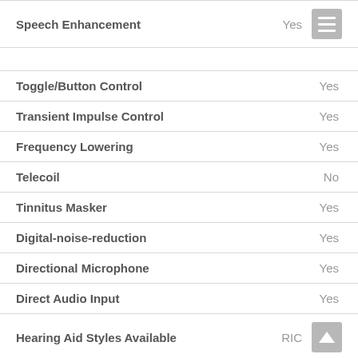| Feature | Value |
| --- | --- |
| Speech Enhancement | Yes |
| Toggle/Button Control | Yes |
| Transient Impulse Control | Yes |
| Frequency Lowering | Yes |
| Telecoil | No |
| Tinnitus Masker | Yes |
| Digital-noise-reduction | Yes |
| Directional Microphone | Yes |
| Direct Audio Input | Yes |
| Hearing Aid Styles Available | RIC |